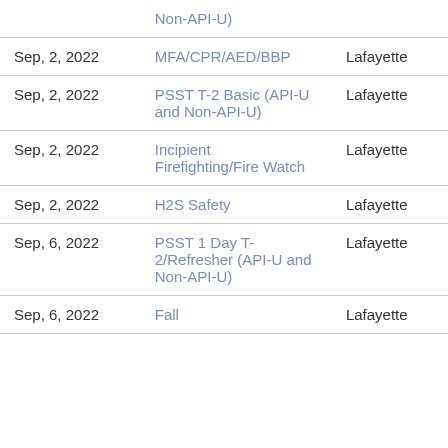| Date | Course | Location |
| --- | --- | --- |
|  | Non-API-U) |  |
| Sep, 2, 2022 | MFA/CPR/AED/BBP | Lafayette |
| Sep, 2, 2022 | PSST T-2 Basic (API-U and Non-API-U) | Lafayette |
| Sep, 2, 2022 | Incipient Firefighting/Fire Watch | Lafayette |
| Sep, 2, 2022 | H2S Safety | Lafayette |
| Sep, 6, 2022 | PSST 1 Day T-2/Refresher (API-U and Non-API-U) | Lafayette |
| Sep, 6, 2022 | Fall | Lafayette |